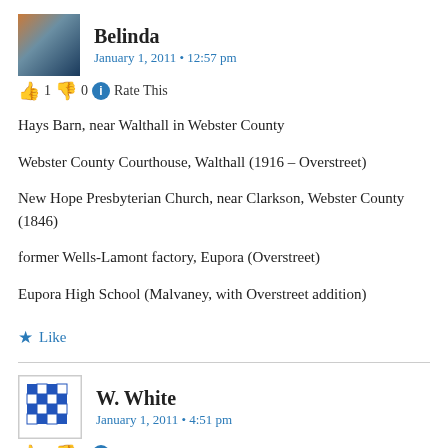Belinda
January 1, 2011 • 12:57 pm
👍 1 👎 0 ℹ Rate This
Hays Barn, near Walthall in Webster County
Webster County Courthouse, Walthall (1916 – Overstreet)
New Hope Presbyterian Church, near Clarkson, Webster County (1846)
former Wells-Lamont factory, Eupora (Overstreet)
Eupora High School (Malvaney, with Overstreet addition)
★ Like
W. White
January 1, 2011 • 4:51 pm
👍 3 👎 0 ℹ Rate This